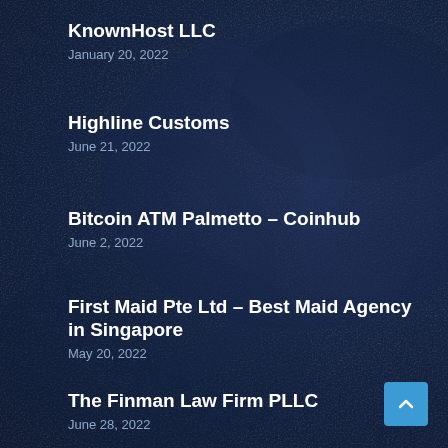KnownHost LLC
January 20, 2022
Highline Customs
June 21, 2022
Bitcoin ATM Palmetto – Coinhub
June 2, 2022
First Maid Pte Ltd – Best Maid Agency in Singapore
May 20, 2022
The Finman Law Firm PLLC
June 28, 2022